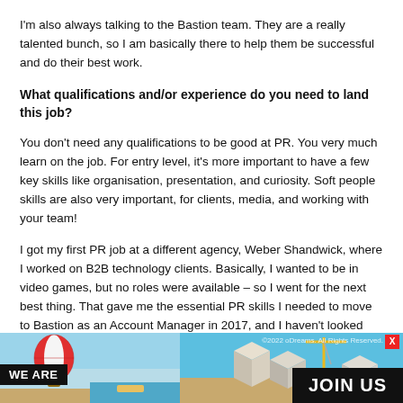I'm also always talking to the Bastion team. They are a really talented bunch, so I am basically there to help them be successful and do their best work.
What qualifications and/or experience do you need to land this job?
You don't need any qualifications to be good at PR. You very much learn on the job. For entry level, it's more important to have a few key skills like organisation, presentation, and curiosity. Soft people skills are also very important, for clients, media, and working with your team!
I got my first PR job at a different agency, Weber Shandwick, where I worked on B2B technology clients. Basically, I wanted to be in video games, but no roles were available – so I went for the next best thing. That gave me the essential PR skills I needed to move to Bastion as an Account Manager in 2017, and I haven't looked back since!
[Figure (infographic): Banner advertisement with 'WE ARE' badge on left, colorful isometric city and balloon illustration, 'JOIN US' button on right, and a close/X button in top right corner with copyright text.]